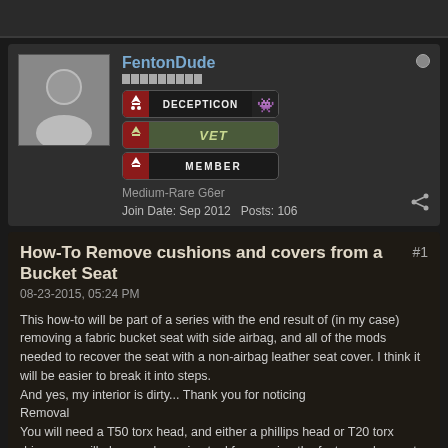FentonDude
Medium-Race G6er
Join Date: Sep 2012   Posts: 106
How-To Remove cushions and covers from a Bucket Seat
#1
08-23-2015, 05:24 PM
This how-to will be part of a series with the end result of (in my case) removing a fabric bucket seat with side airbag, and all of the mods needed to recover the seat with a non-airbag leather seat cover. I think it will be easier to break it into steps.
And yes, my interior is dirty... Thank you for noticing
Removal
You will need a T50 torx head, and either a phillips head or T20 torx driver, you will also need a prying tool for popping the fasteners loose at the top of the seat back..
First, slide the seat as far forward as it will go. This will expose the 2